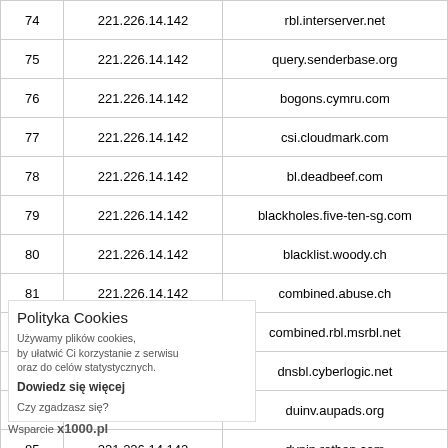|  | IP | Domain |
| --- | --- | --- |
| 74 | 221.226.14.142 | rbl.interserver.net |
| 75 | 221.226.14.142 | query.senderbase.org |
| 76 | 221.226.14.142 | bogons.cymru.com |
| 77 | 221.226.14.142 | csi.cloudmark.com |
| 78 | 221.226.14.142 | bl.deadbeef.com |
| 79 | 221.226.14.142 | blackholes.five-ten-sg.com |
| 80 | 221.226.14.142 | blacklist.woody.ch |
| 81 | 221.226.14.142 | combined.abuse.ch |
| 82 | 221.226.14.142 | combined.rbl.msrbl.net |
| 83 | 221.226.14.142 | dnsbl.cyberlogic.net |
| 84 | 221.226.14.142 | duinv.aupads.org |
| 85 | 221.226.14.142 | dynip.rothen.com |
| 86 | 221.226.14.142 | images.rbl.msrbl.net |
| 87 | 221.226.14.142 | ohps.dnsbl.net.au |
| 88 | 221.226.14.142 | omrs.dnsbl.net.au |
| 89 | 221.226.14.142 | orvedb.aupads.org |
| 90 | 221.226.14.142 | osps.dnsbl.net.au |
Polityka Cookies
Używamy plików cookies, by ułatwić Ci korzystanie z serwisu oraz do celów statystycznych.
Dowiedz się więcej
Czy zgadzasz się?
Wsparcie x1000.pl